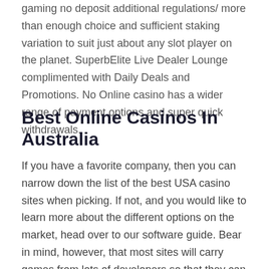gaming no deposit additional regulations/ more than enough choice and sufficient staking variation to suit just about any slot player on the planet. SuperbElite Live Dealer Lounge complimented with Daily Deals and Promotions. No Online casino has a wider range of payment options and super quick withdrawals.
Best Online Casinos In Australia
If you have a favorite company, then you can narrow down the list of the best USA casino sites when picking. If not, and you would like to learn more about the different options on the market, head over to our software guide. Bear in mind, however, that most sites will carry games from lots of developers so that they can create large and diverse collections. As you would hope, there are numerous payment methods accepted at the top USA